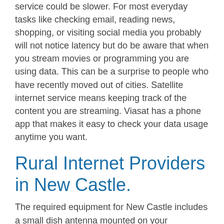service could be slower. For most everyday tasks like checking email, reading news, shopping, or visiting social media you probably will not notice latency but do be aware that when you stream movies or programming you are using data. This can be a surprise to people who have recently moved out of cities. Satellite internet service means keeping track of the content you are streaming. Viasat has a phone app that makes it easy to check your data usage anytime you want.
Rural Internet Providers in New Castle.
The required equipment for New Castle includes a small dish antenna mounted on your homeexterior where there is a clear view of the southern sky. A RG6 coaxial cable connects the disk and a modem that gets you online. A Wi-Fi router could be built into the modem or could be stand-alone. The router extends your